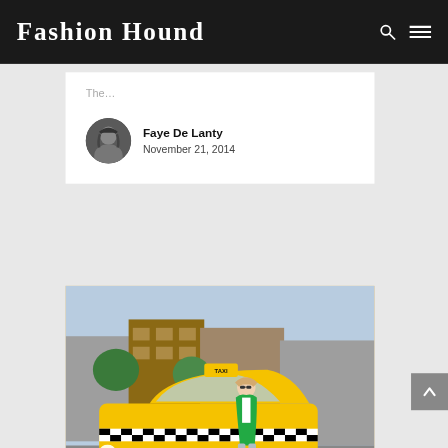Fashion Hound
The…
Faye De Lanty
November 21, 2014
[Figure (photo): Woman in green blazer, white top, and light jeans leaning against a vintage yellow checkered taxi cab on a city street with brick buildings in background]
Thrift Shopping